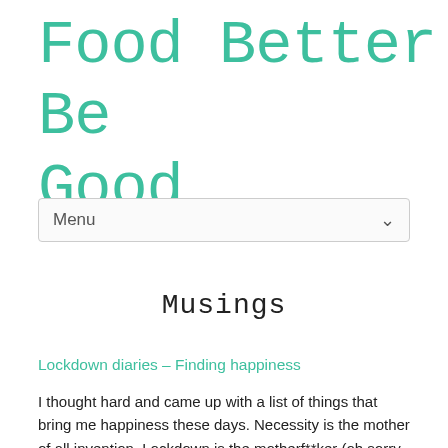Food Better Be Good
Musings
Lockdown diaries – Finding happiness
I thought hard and came up with a list of things that bring me happiness these days. Necessity is the mother of all invention. Lockdown is the motherf**ker (oh sorry, forgot that this is not a rap song) of all of mankind's joys – going